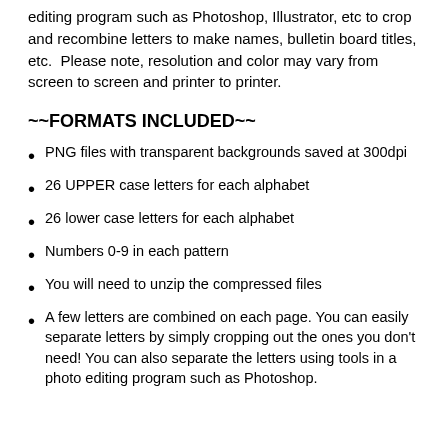editing program such as Photoshop, Illustrator, etc to crop and recombine letters to make names, bulletin board titles, etc.  Please note, resolution and color may vary from screen to screen and printer to printer.
~~FORMATS INCLUDED~~
PNG files with transparent backgrounds saved at 300dpi
26 UPPER case letters for each alphabet
26 lower case letters for each alphabet
Numbers 0-9 in each pattern
You will need to unzip the compressed files
A few letters are combined on each page. You can easily separate letters by simply cropping out the ones you don't need! You can also separate the letters using tools in a photo editing program such as Photoshop.